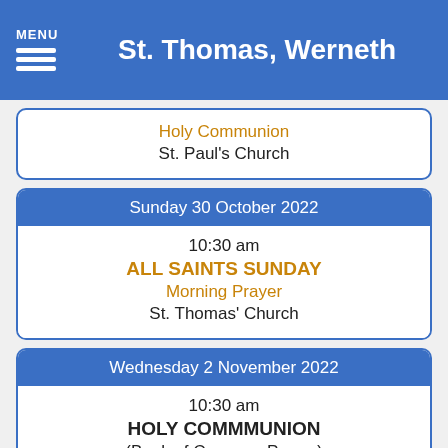MENU St. Thomas, Werneth
Holy Communion
St. Paul's Church
Sunday 30 October 2022
10:30 am
ALL SAINTS SUNDAY
Morning Prayer
St. Thomas' Church
Wednesday 2 November 2022
10:30 am
HOLY COMMMUNION
(Book of Common Prayer)